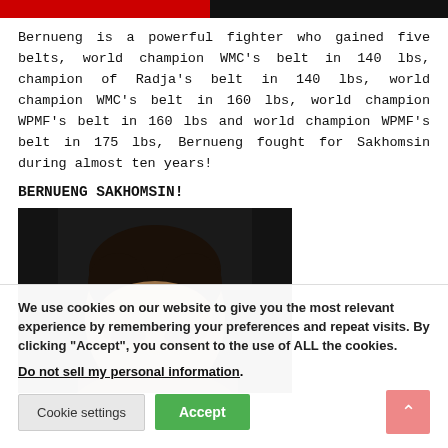Bernueng is a powerful fighter who gained five belts, world champion WMC’s belt in 140 lbs, champion of Radja’s belt in 140 lbs, world champion WMC’s belt in 160 lbs, world champion WPMF’s belt in 160 lbs and world champion WPMF’s belt in 175 lbs, Bernueng fought for Sakhomsin during almost ten years!
BERNUENG SAKHOMSIN!
[Figure (photo): Close-up photo of a fighter's face against a dark background, showing the upper portion of the face cropped at the chin level.]
We use cookies on our website to give you the most relevant experience by remembering your preferences and repeat visits. By clicking “Accept”, you consent to the use of ALL the cookies.
Do not sell my personal information.